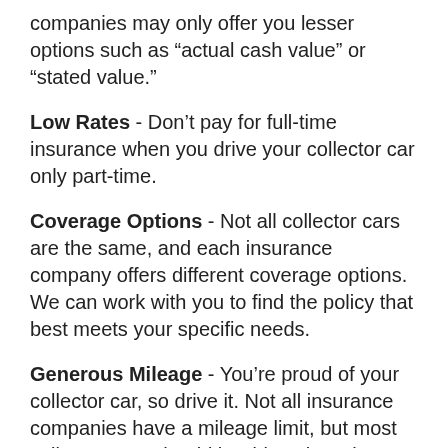companies may only offer you lesser options such as “actual cash value” or “stated value.”
Low Rates - Don’t pay for full-time insurance when you drive your collector car only part-time.
Coverage Options - Not all collector cars are the same, and each insurance company offers different coverage options. We can work with you to find the policy that best meets your specific needs.
Generous Mileage - You’re proud of your collector car, so drive it. Not all insurance companies have a mileage limit, but most collector cars should be driven less than 5,000 annual miles to maintain their value.
Roadside Assistance - Whether you're at a local classic car event or taking a Sunday drive through the country, if your car becomes undrivable, you'll want to